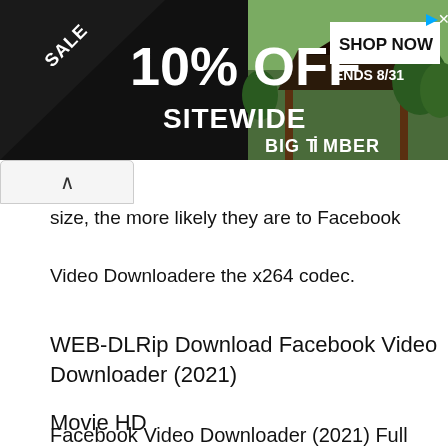[Figure (other): Advertisement banner: black background with sale triangle on left showing 'SALE', large '10% OFF SITEWIDE' text, 'SHOP NOW ENDS 8/31' button, gazebo photo on right, 'BIG TIMBER' branding]
size, the more likely they are to Facebook
Video Downloadere the x264 codec.
WEB-DLRip Download Facebook Video Downloader (2021)
Movie HD
Facebook Video Downloader (2021) Full Movie Watch